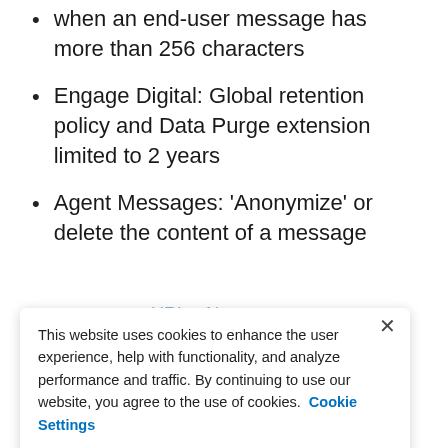message function to agent when an end-user message has more than 256 characters
Engage Digital: Global retention policy and Data Purge extension limited to 2 years
Agent Messages: 'Anonymize' or delete the content of a message
This website uses cookies to enhance the user experience, help with functionality, and analyze performance and traffic. By continuing to use our website, you agree to the use of cookies.  Cookie Settings
Continue
Copy report URLs: New 'Copy Report URL' & 'Copy Dashboard URL' buttons to...